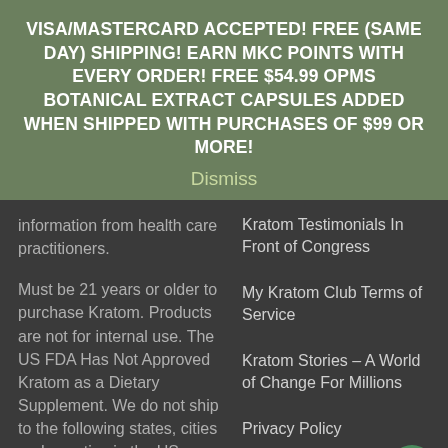VISA/MASTERCARD ACCEPTED! FREE (SAME DAY) SHIPPING! EARN MKC POINTS WITH EVERY ORDER! FREE $54.99 OPMS BOTANICAL EXTRACT CAPSULES ADDED WHEN SHIPPED WITH PURCHASES OF $99 OR MORE!
Dismiss
information from health care practitioners.
Kratom Testimonials In Front of Congress
Must be 21 years or older to purchase Kratom. Products are not for internal use. The US FDA Has Not Approved Kratom as a Dietary Supplement. We do not ship to the following states, cities and counties in the US where
My Kratom Club Terms of Service
Kratom Stories – A World of Change For Millions
Privacy Policy